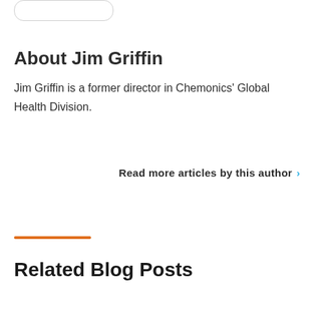About Jim Griffin
Jim Griffin is a former director in Chemonics' Global Health Division.
Read more articles by this author ›
Related Blog Posts